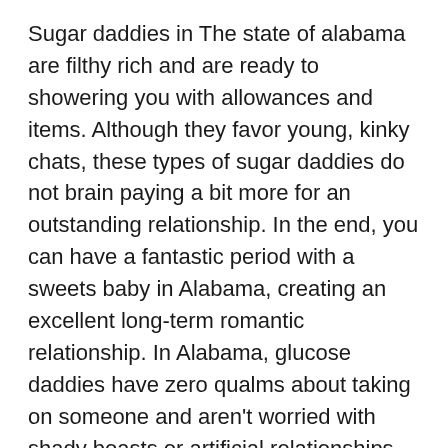Sugar daddies in The state of alabama are filthy rich and are ready to showering you with allowances and items. Although they favor young, kinky chats, these types of sugar daddies do not brain paying a bit more for an outstanding relationship. In the end, you can have a fantastic period with a sweets baby in Alabama, creating an excellent long-term romantic relationship. In Alabama, glucose daddies have zero qualms about taking on someone and aren't worried with shady boasts or artificial relationships.
Sugar infants in Alabama are really attractive and tend to be available through special web sites. Sugar daddies in The state of alabama don't necessarily have to be from Alabama to get their sugar baby. Many of these Alabama sugar daddies